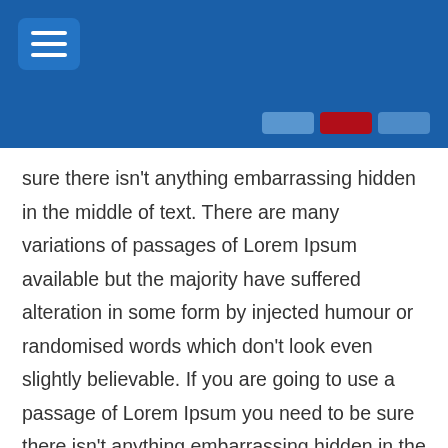Navigation header with menu button and nav icons
sure there isn’t anything embarrassing hidden in the middle of text. There are many variations of passages of Lorem Ipsum available but the majority have suffered alteration in some form by injected humour or randomised words which don’t look even slightly believable. If you are going to use a passage of Lorem Ipsum you need to be sure there isn’t anything embarrassing hidden in the middle of text.
There are many variations of passages of Lorem Ipsum available but the majority have suffered alteration in some form by injected humour or randomised words which don’t look even slightly believable. If you are